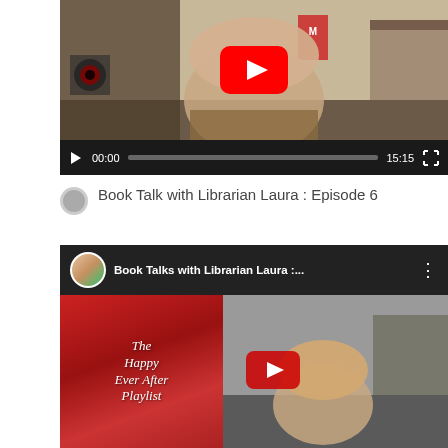[Figure (screenshot): YouTube video player showing a woman speaking on camera with a YouTube play button overlay. Controls show 00:00 timestamp and 15:15 duration.]
Book Talk with Librarian Laura : Episode 6
[Figure (screenshot): YouTube video thumbnail for 'Book Talks with Librarian Laura :...' showing a woman holding 'The Happy Ever After Playlist' book with a YouTube play button overlay. Channel icon with librarian avatar visible in header.]